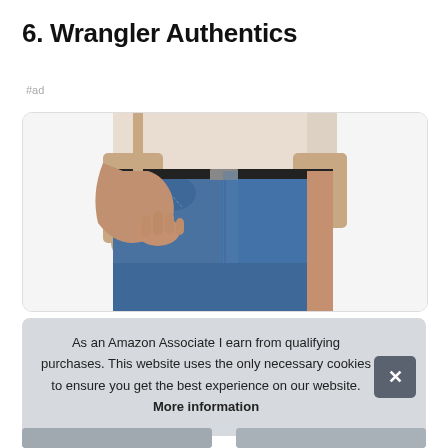6. Wrangler Authentics
#ad
[Figure (photo): Close-up photo of a man wearing blue denim jeans with his hand in the front pocket, wearing a light-colored t-shirt, set against a white background inside a rounded-corner card.]
As an Amazon Associate I earn from qualifying purchases. This website uses the only necessary cookies to ensure you get the best experience on our website. More information